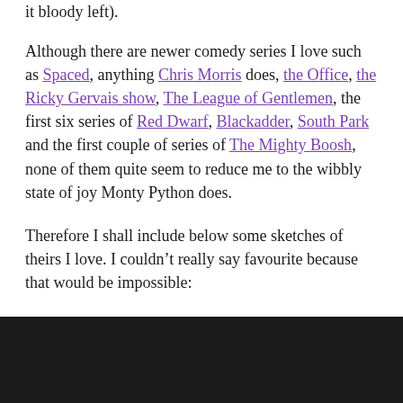it bloody left).
Although there are newer comedy series I love such as Spaced, anything Chris Morris does, the Office, the Ricky Gervais show, The League of Gentlemen, the first six series of Red Dwarf, Blackadder, South Park and the first couple of series of The Mighty Boosh, none of them quite seem to reduce me to the wibbly state of joy Monty Python does.
Therefore I shall include below some sketches of theirs I love. I couldn’t really say favourite because that would be impossible:
[Figure (photo): Black rectangle at bottom of page, likely a video embed or image placeholder]